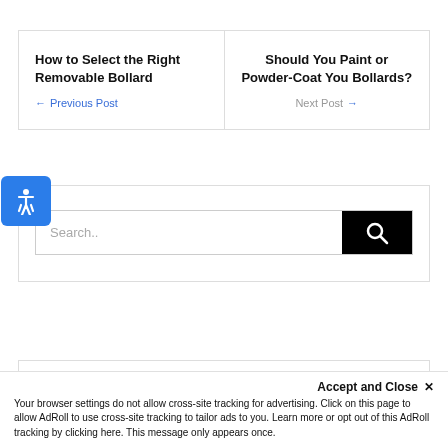How to Select the Right Removable Bollard — Previous Post
Should You Paint or Powder-Coat You Bollards? — Next Post
[Figure (screenshot): Search box with text input showing placeholder 'Search..' and a black search button with magnifying glass icon, plus a blue accessibility icon]
Accept and Close ✕
Your browser settings do not allow cross-site tracking for advertising. Click on this page to allow AdRoll to use cross-site tracking to tailor ads to you. Learn more or opt out of this AdRoll tracking by clicking here. This message only appears once.